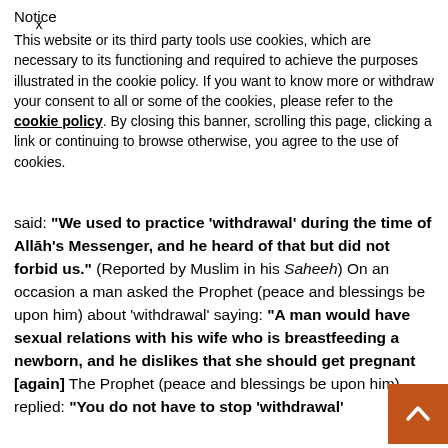Notice
This website or its third party tools use cookies, which are necessary to its functioning and required to achieve the purposes illustrated in the cookie policy. If you want to know more or withdraw your consent to all or some of the cookies, please refer to the cookie policy. By closing this banner, scrolling this page, clicking a link or continuing to browse otherwise, you agree to the use of cookies.
said: “We used to practice ‘withdrawal’ during the time of Allāh’s Messenger, and he heard of that but did not forbid us.” (Reported by Muslim in his Saheeh) On an occasion a man asked the Prophet (peace and blessings be upon him) about ‘withdrawal’ saying: “A man would have sexual relations with his wife who is breastfeeding a newborn, and he dislikes that she should get pregnant [again] The Prophet (peace and blessings be upon him) replied: “You do not have to stop ‘withdrawal’